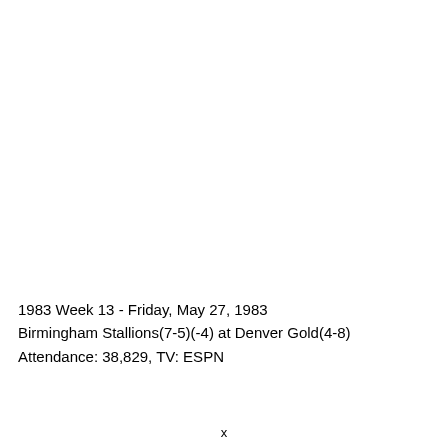1983 Week 13 - Friday, May 27, 1983
Birmingham Stallions(7-5)(-4) at Denver Gold(4-8)
Attendance: 38,829, TV: ESPN
x